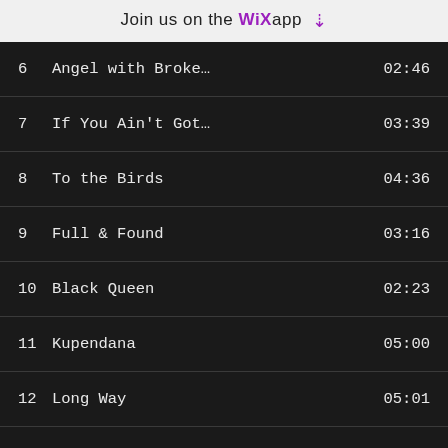Join us on the WiX app
6  Angel with Broke…  02:46
7  If You Ain't Got…  03:39
8  To the Birds  04:36
9  Full & Found  03:16
10  Black Queen  02:23
11  Kupendana  05:00
12  Long Way  05:01
Show all tracks
Buy Album $9.90  Share